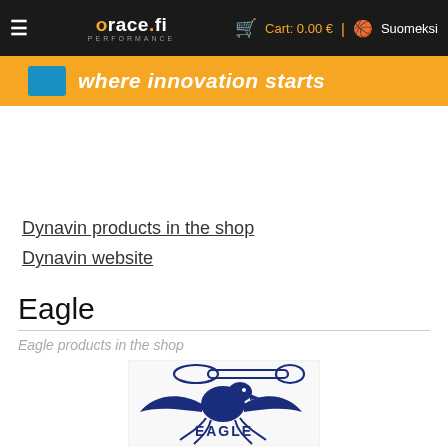≡  orace.fi PERFORMANCE   🛒 Cart: 0.00 €  🏴 Suomeksi
[Figure (screenshot): Orange bar with blue icon and italic text 'where innovation starts']
Dynavin products in the shop
Dynavin website
Eagle
Eagle products in the shop
[Figure (logo): Eagle brand logo: blue eagle with wings spread, holding a connecting rod, text EAGLE below in blue]